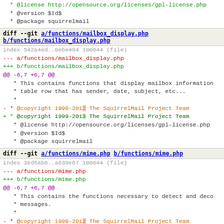* @license http://opensource.org/licenses/gpl-license.php
 * @version $Id$
 * @package squirrelmail
diff --git a/functions/mailbox_display.php b/functions/mailbox_display.php
index 542a4ed..0ebe484 100644 (file)
--- a/functions/mailbox_display.php
+++ b/functions/mailbox_display.php
@@ -6,7 +6,7 @@
   * This contains functions that display mailbox information
   * table row that has sender, date, subject, etc...
   *
- * @copyright 1999-2012 The SquirrelMail Project Team
+ * @copyright 1999-2013 The SquirrelMail Project Team
   * @license http://opensource.org/licenses/gpl-license.php
   * @version $Id$
   * @package squirrelmail
diff --git a/functions/mime.php b/functions/mime.php
index 3ed5ab8..a639e67 100644 (file)
--- a/functions/mime.php
+++ b/functions/mime.php
@@ -6,7 +6,7 @@
   * This contains the functions necessary to detect and deco
   * messages.
   *
- * @copyright 1999-2012 The SquirrelMail Project Team
+ * @copyright 1999-2013 The SquirrelMail Project Team
   * @license http://opensource.org/licenses/gpl-license.php
   * @version $Id$